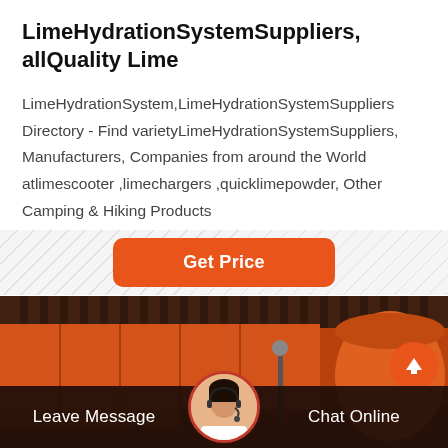LimeHydrationSystemSuppliers, allQuality Lime
LimeHydrationSystem,LimeHydrationSystemSuppliers Directory - Find varietyLimeHydrationSystemSuppliers, Manufacturers, Companies from around the World atlimescooter ,limechargers ,quicklimepowder, Other Camping & Hiking Products
[Figure (other): Orange 'Get Price' call-to-action button on a diagonal striped background]
[Figure (photo): Industrial facility with orange/red metal structures, large tanks or silos visible in the background]
[Figure (other): Bottom navigation bar with 'Leave Message', customer service avatar, and 'Chat Online' options on dark background]